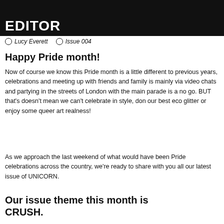FROM THE FOUNDER & EDITOR
○ Lucy Everett  ○ Issue 004
Happy Pride month!
Now of course we know this Pride month is a little different to previous years, celebrations and meeting up with friends and family is mainly via video chats and partying in the streets of London with the main parade is a no go. BUT that's doesn't mean we can't celebrate in style, don our best eco glitter or enjoy some queer art realness!
As we approach the last weekend of what would have been Pride celebrations across the country, we're ready to share with you all our latest issue of UNICORN.
Our issue theme this month is CRUSH.